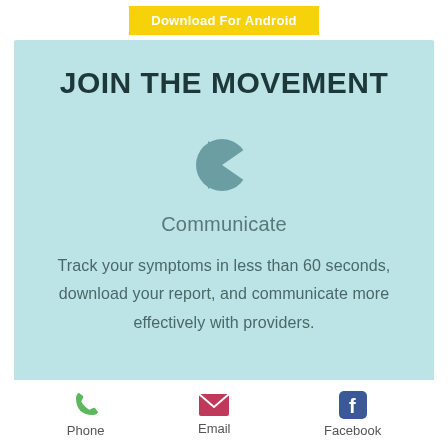[Figure (other): Yellow button with white text 'Download For Android']
JOIN THE MOVEMENT
[Figure (illustration): Teal/muted blue pac-man style arrow/chevron icon representing communication]
Communicate
Track your symptoms in less than 60 seconds, download your report, and communicate more effectively with providers.
[Figure (other): Footer icons: green phone, magenta email envelope, blue Facebook icon with labels Phone, Email, Facebook]